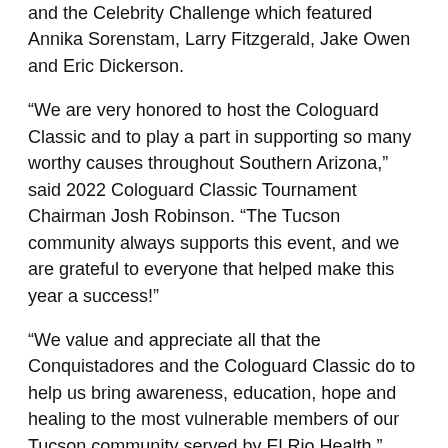and the Celebrity Challenge which featured Annika Sorenstam, Larry Fitzgerald, Jake Owen and Eric Dickerson.
“We are very honored to host the Cologuard Classic and to play a part in supporting so many worthy causes throughout Southern Arizona,” said 2022 Cologuard Classic Tournament Chairman Josh Robinson. “The Tucson community always supports this event, and we are grateful to everyone that helped make this year a success!”
“We value and appreciate all that the Conquistadores and the Cologuard Classic do to help us bring awareness, education, hope and healing to the most vulnerable members of our Tucson community served by El Rio Health,” said Brenda Goldsmith, Executive Director of the El Rio Health Center Foundation. “The charitable support goes 100% to qualified patient care to cover the costs of colon cancer screening, consultations, diagnostics, and pathology for those in need.”